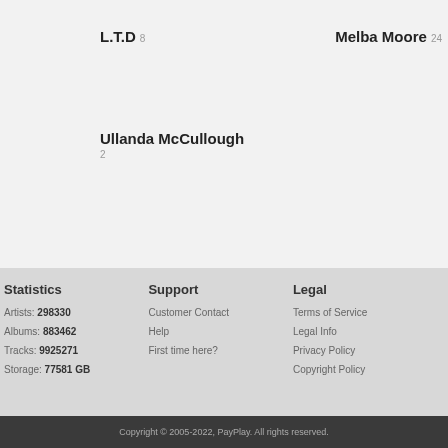L.T.D 8
Melba Moore 24
Ullanda McCullough
2
Statistics
Support
Legal
Artists: 298330
Albums: 883462
Tracks: 9925271
Storage: 77581 GB
Customer Contact
Help
First time here?
Terms of Service
Legal Info
Privacy Policy
Copyright Policy
Copyright © 2005-2022, PayPlay. All rights reserved.